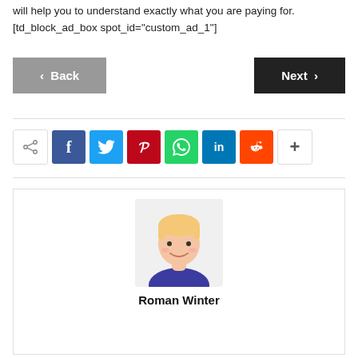will help you to understand exactly what you are paying for.
[td_block_ad_box spot_id="custom_ad_1"]
[Figure (other): Navigation buttons: grey 'Back' button on the left and dark 'Next' button on the right]
[Figure (other): Social media share buttons row: share icon, Facebook (f), Twitter (bird), Pinterest (p), WhatsApp (phone), LinkedIn (in), Reddit (alien), more (+)]
[Figure (illustration): Author card with avatar illustration of a blond man and name 'Roman Winter']
Roman Winter